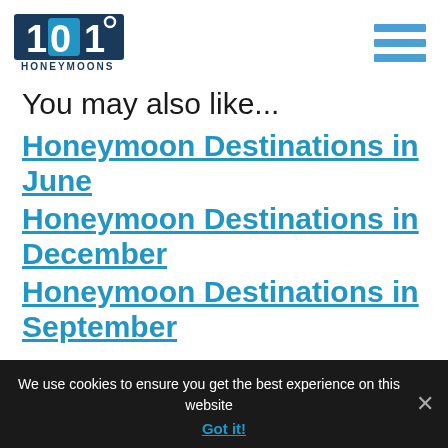101 Honeymoons
You may also like...
Honeymoon Destinations in June
Honeymoon Destinations in December
Honeymoon Destinations in September
We use cookies to ensure you get the best experience on this website
Got it!